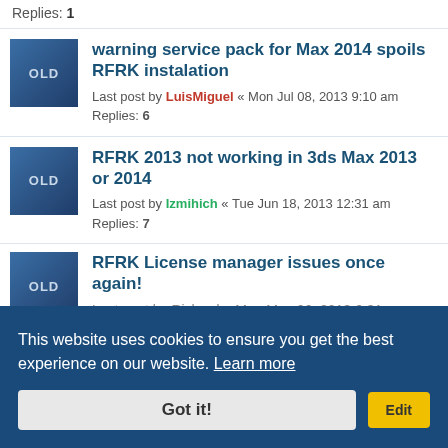Replies: 1
warning service pack for Max 2014 spoils RFRK instalation
Last post by LuisMiguel « Mon Jul 08, 2013 9:10 am
Replies: 6
RFRK 2013 not working in 3ds Max 2013 or 2014
Last post by Izmihich « Tue Jun 18, 2013 12:31 am
Replies: 7
RFRK License manager issues once again!
Last post by Richard « Mon May 06, 2013 6:31...
Rfrk 2.5 not rendering particles
This website uses cookies to ensure you get the best experience on our website. Learn more
Got it!